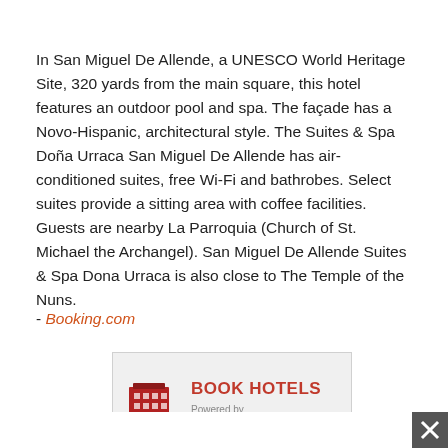In San Miguel De Allende, a UNESCO World Heritage Site, 320 yards from the main square, this hotel features an outdoor pool and spa. The façade has a Novo-Hispanic, architectural style. The Suites & Spa Doña Urraca San Miguel De Allende has air-conditioned suites, free Wi-Fi and bathrobes. Select suites provide a sitting area with coffee facilities. Guests are nearby La Parroquia (Church of St. Michael the Archangel). San Miguel De Allende Suites & Spa Dona Urraca is also close to The Temple of the Nuns.
- Booking.com
[Figure (other): Booking.com advertisement banner with hotel building icon, 'BOOK HOTELS' heading in red, 'Powered by' text, and 'Booking.com' logo in blue.]